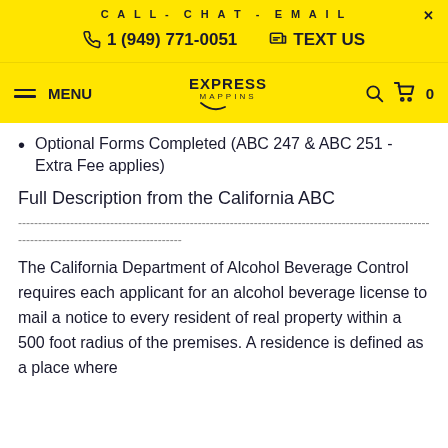CALL- CHAT - EMAIL
1 (949) 771-0051  TEXT US
MENU  EXPRESS MAPPINS  0
Optional Forms Completed (ABC 247 & ABC 251 - Extra Fee applies)
Full Description from the California ABC
--------------------------------------------------------------------------------------------------------------
The California Department of Alcohol Beverage Control requires each applicant for an alcohol beverage license to mail a notice to every resident of real property within a 500 foot radius of the premises. A residence is defined as a place where